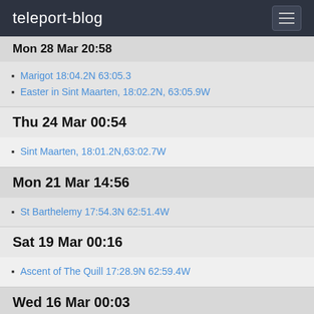teleport-blog
Mon 28 Mar 20:58
Marigot 18:04.2N 63:05.3
Easter in Sint Maarten, 18:02.2N, 63:05.9W
Thu 24 Mar 00:54
Sint Maarten, 18:01.2N,63:02.7W
Mon 21 Mar 14:56
St Barthelemy 17:54.3N 62:51.4W
Sat 19 Mar 00:16
Ascent of The Quill 17:28.9N 62:59.4W
Wed 16 Mar 00:03
Island Trilogy 17:17.4N 62:43.8W
Tue 15 Mar 00:51
Cream Tea and Tropical garden 17:08.3N, 62:37.97W
Thu 10 Mar 15:34
Back to Jolly Harbour, 17:04.2N,61:53.1W
Mon 7 Mar 13:36